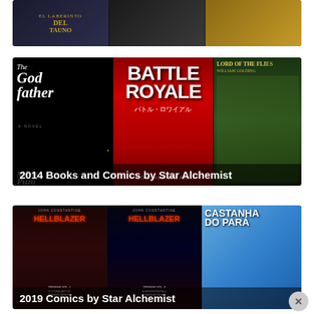[Figure (photo): Top partial book covers strip showing dark fantasy/art books]
[Figure (photo): Middle card showing The Godfather by Mario Puzo, Battle Royale by Koushun Takami, and Lord of the Flies by William Golding book covers with overlay label '2014 Books and Comics by Star Alchemist']
[Figure (photo): Bottom card showing John Constantine Hellblazer Origens Vol.1 O Coração do Menino Morto, Hellblazer Origens Vol.2 A Morrorista e Sangue Ruim, and Castanha do Pará book covers with overlay label '2019 Comics by Star Alchemist']
[Figure (photo): Partial grey/blurred book covers strip at very bottom of page]